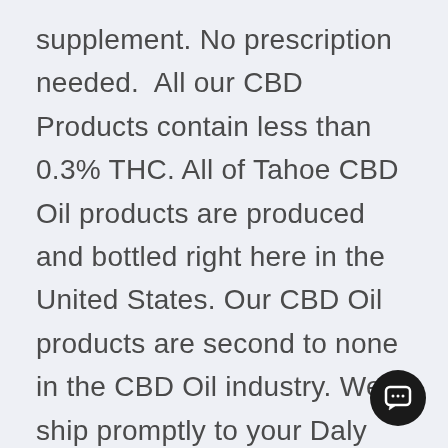supplement. No prescription needed.  All our CBD Products contain less than 0.3% THC. All of Tahoe CBD Oil products are produced and bottled right here in the United States. Our CBD Oil products are second to none in the CBD Oil industry. We ship promptly to your Daly City residence or business. You will find that our pricing is the most competitive in today's marketplace. We want be your one-stop shop in Daly City for
[Figure (other): Chat/message button icon — circular black button with a speech bubble icon in white, positioned in the bottom-right corner]